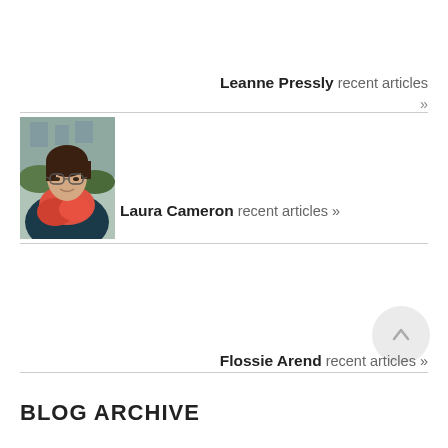Leanne Pressly recent articles »
[Figure (photo): Portrait photo of Laura Cameron, a woman with glasses wearing a red scarf and dark top, outdoors in front of a building]
Laura Cameron recent articles »
Flossie Arend recent articles »
BLOG ARCHIVE